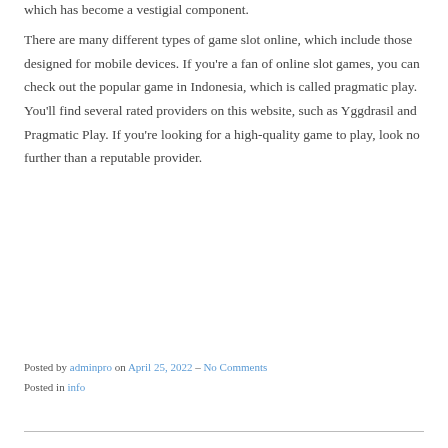which has become a vestigial component.
There are many different types of game slot online, which include those designed for mobile devices. If you're a fan of online slot games, you can check out the popular game in Indonesia, which is called pragmatic play. You'll find several rated providers on this website, such as Yggdrasil and Pragmatic Play. If you're looking for a high-quality game to play, look no further than a reputable provider.
Posted by adminpro on April 25, 2022 – No Comments
Posted in info